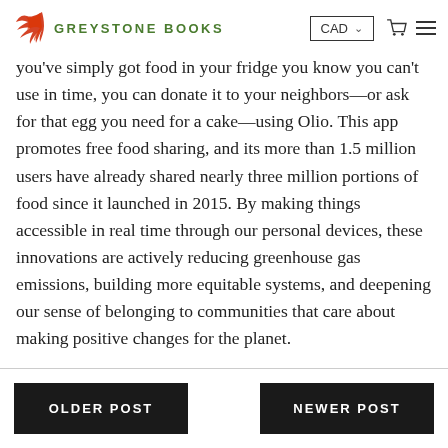GREYSTONE BOOKS  CAD
you've simply got food in your fridge you know you can't use in time, you can donate it to your neighbors—or ask for that egg you need for a cake—using Olio. This app promotes free food sharing, and its more than 1.5 million users have already shared nearly three million portions of food since it launched in 2015. By making things accessible in real time through our personal devices, these innovations are actively reducing greenhouse gas emissions, building more equitable systems, and deepening our sense of belonging to communities that care about making positive changes for the planet.
OLDER POST
NEWER POST